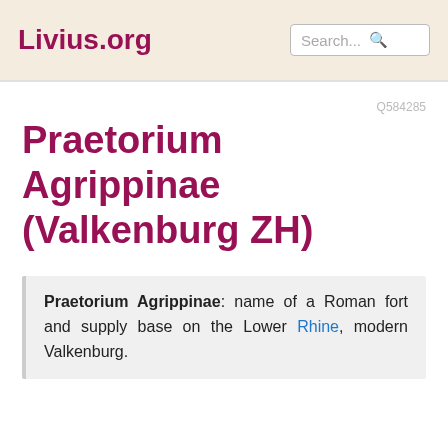Livius.org
Praetorium Agrippinae (Valkenburg ZH)
Q584285
Praetorium Agrippinae: name of a Roman fort and supply base on the Lower Rhine, modern Valkenburg.